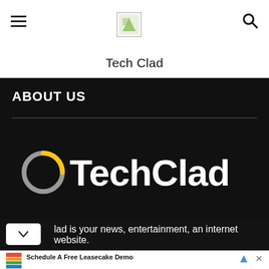Tech Clad
ABOUT US
[Figure (logo): TechClad logo with circular grey/yellow icon and white bold text on black background]
lad is your news, entertainment, an internet website.
[Figure (infographic): Advertisement banner: Schedule A Free Leasecake Demo. Leasecake helps you quickly & easily create a complete financial picture of your portfolio Leasecake. Book Now button.]